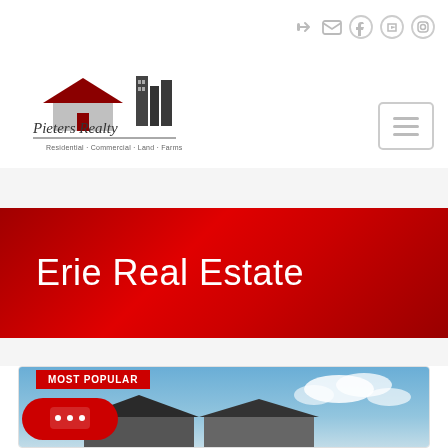[Figure (logo): Pieters Realty logo with house/building icon and tagline: Residential · Commercial · Land · Farms]
[Figure (infographic): Navigation icons: login arrow, mail envelope, Facebook, YouTube, Instagram social icons in top right; hamburger menu button on right side]
Erie Real Estate
[Figure (photo): Property listing photo showing a house with grey/dark siding roof against a blue sky with clouds, with a MOST POPULAR red badge overlay]
[Figure (infographic): Red rounded chat/message button with speech bubble dots icon]